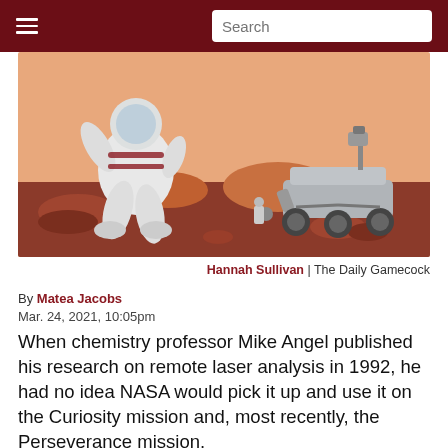☰  Search
[Figure (illustration): Cartoon illustration of an astronaut in a white spacesuit bounding on the red Martian surface, next to the Curiosity/Perseverance-style NASA rover. Orange sky and rocky terrain in the background.]
Hannah Sullivan | The Daily Gamecock
By Matea Jacobs
Mar. 24, 2021, 10:05pm
When chemistry professor Mike Angel published his research on remote laser analysis in 1992, he had no idea NASA would pick it up and use it on the Curiosity mission and, most recently, the Perseverance mission.